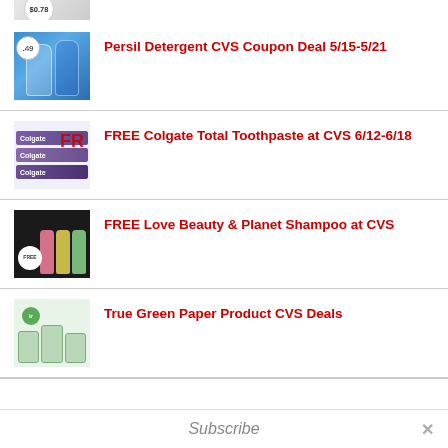[Figure (photo): Partial product image at top, cropped, with $0.78 price badge]
Persil Detergent CVS Coupon Deal 5/15-5/21
FREE Colgate Total Toothpaste at CVS 6/12-6/18
FREE Love Beauty & Planet Shampoo at CVS
True Green Paper Product CVS Deals
Subscribe